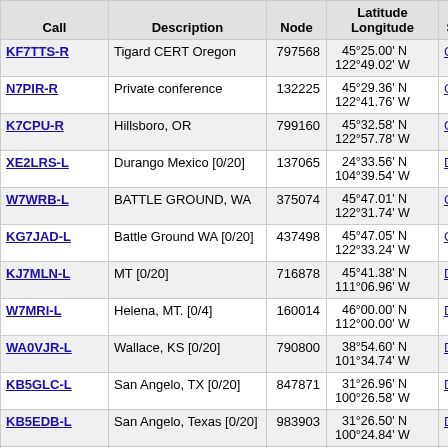| Call | Description | Node | Latitude Longitude | Grid Square | D ( |
| --- | --- | --- | --- | --- | --- |
| KF7TTS-R | Tigard CERT Oregon | 797568 | 45°25.00' N 122°49.02' W | CN85ok |  |
| N7PIR-R | Private conference | 132225 | 45°29.36' N 122°41.76' W | CN85pl |  |
| K7CPU-R | Hillsboro, OR | 799160 | 45°32.58' N 122°57.78' W | CN85mn |  |
| XE2LRS-L | Durango Mexico [0/20] | 137065 | 24°33.56' N 104°39.54' W | DL74qn |  |
| W7WRB-L | BATTLE GROUND, WA | 375074 | 45°47.01' N 122°31.74' W | CN85rs |  |
| KG7JAD-L | Battle Ground WA [0/20] | 437498 | 45°47.05' N 122°33.24' W | CN85rs |  |
| KJ7MLN-L | MT [0/20] | 716878 | 45°41.38' N 111°06.96' W | DN45kq |  |
| W7MRI-L | Helena, MT. [0/4] | 160014 | 46°00.00' N 112°00.00' W | DN46aa |  |
| WA0VJR-L | Wallace, KS [0/20] | 790800 | 38°54.60' N 101°34.74' W | DM98fv |  |
| KB5GLC-L | San Angelo, TX [0/20] | 847871 | 31°26.96' N 100°26.58' W | DM91sk |  |
| KB5EDB-L | San Angelo, Texas [0/20] | 983903 | 31°26.50' N 100°24.84' W | DM91tk |  |
| KB5GLC-R | San Angelo, TX [0/20] | 702607 | 31°28.07' N | DM91t |  |